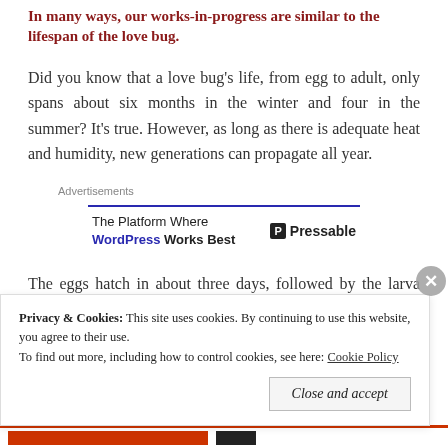In many ways, our works-in-progress are similar to the lifespan of the love bug.
Did you know that a love bug’s life, from egg to adult, only spans about six months in the winter and four in the summer? It’s true. However, as long as there is adequate heat and humidity, new generations can propagate all year.
[Figure (other): Advertisement banner: The Platform Where WordPress Works Best | Pressable]
The eggs hatch in about three days, followed by the larva stage the longest in the fly’s life. It’s around one day in the summer...
Privacy & Cookies: This site uses cookies. By continuing to use this website, you agree to their use. To find out more, including how to control cookies, see here: Cookie Policy
Close and accept